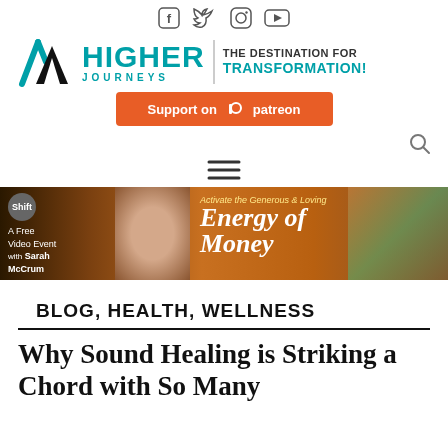Social media icons: Facebook, Twitter, Instagram, YouTube
[Figure (logo): Higher Journeys logo with mountain/chevron icon and tagline 'THE DESTINATION FOR TRANSFORMATION!']
[Figure (illustration): Support on Patreon orange button]
[Figure (illustration): Search icon (magnifying glass)]
[Figure (illustration): Hamburger menu icon (three horizontal lines)]
[Figure (photo): Banner ad: Shift Network - A Free Video Event with Sarah McCrum - Activate the Generous & Loving Energy of Money]
BLOG, HEALTH, WELLNESS
Why Sound Healing is Striking a Chord with So Many